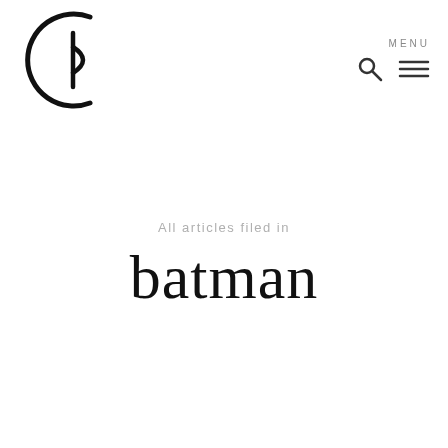[Figure (logo): Circular logo with a stylized letter or symbol inside, half-circle arc with a vertical line and curved element, black on white]
MENU
All articles filed in
batman